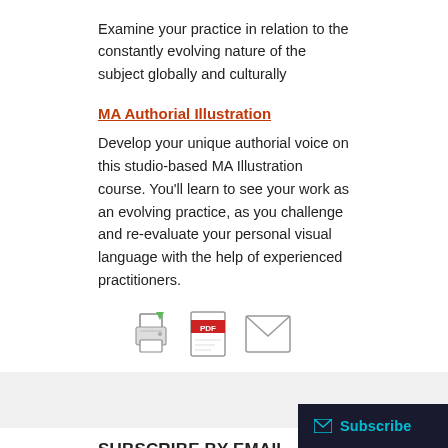Examine your practice in relation to the constantly evolving nature of the subject globally and culturally
MA Authorial Illustration
Develop your unique authorial voice on this studio-based MA Illustration course. You’ll learn to see your work as an evolving practice, as you challenge and re-evaluate your personal visual language with the help of experienced practitioners.
[Figure (infographic): Three icons: a printer icon with green arrow, a PDF icon with red label, and an envelope/mail icon]
SUBSCRIBE BY EMAIL
Completely spam free, opt out any time.
[Figure (infographic): Subscribe button with envelope icon on dark background with cyan text]